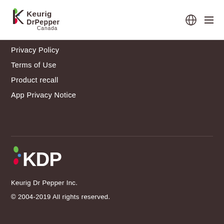[Figure (logo): Keurig Dr Pepper Canada logo in header]
Privacy Policy
Terms of Use
Product recall
App Privacy Notice
[Figure (logo): KDP (Keurig Dr Pepper) white logo]
Keurig Dr Pepper Inc.
© 2004-2019 All rights reserved.